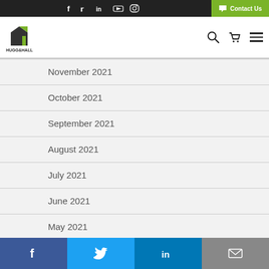f  tw  in  yt  ig  Contact Us
[Figure (logo): Hugg & Hall logo — black and green building icon with company name below]
November 2021
October 2021
September 2021
August 2021
July 2021
June 2021
May 2021
April 2021
March 2021
February 2021
January 2021
f  tw  in  email